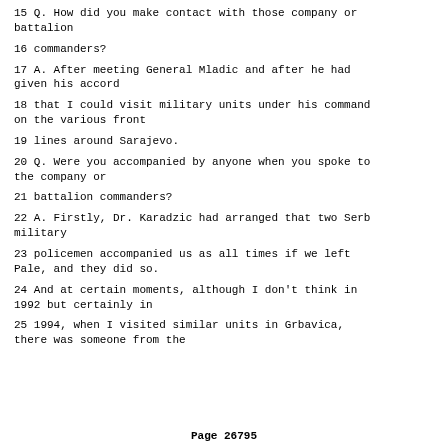15 Q. How did you make contact with those company or battalion
16 commanders?
17 A. After meeting General Mladic and after he had given his accord
18 that I could visit military units under his command on the various front
19 lines around Sarajevo.
20 Q. Were you accompanied by anyone when you spoke to the company or
21 battalion commanders?
22 A. Firstly, Dr. Karadzic had arranged that two Serb military
23 policemen accompanied us as all times if we left Pale, and they did so.
24 And at certain moments, although I don't think in 1992 but certainly in
25 1994, when I visited similar units in Grbavica, there was someone from the
Page 26795